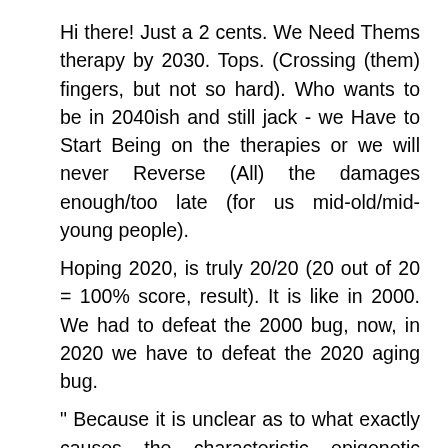Hi there! Just a 2 cents. We Need Thems therapy by 2030. Tops. (Crossing (them) fingers, but not so hard). Who wants to be in 2040ish and still jack - we Have to Start Being on the therapies or we will never Reverse (All) the damages enough/too late (for us mid-old/mid-young people).
Hoping 2020, is truly 20/20 (20 out of 20 = 100% score, result). It is like in 2000. We had to defeat the 2000 bug, now, in 2020 we have to defeat the 2020 aging bug.
" Because it is unclear as to what exactly causes the characteristic epigenetic changes of age, it is unknown as to how an epigenetic clock will react to any given new class of ejuvenation therapy. The outcome of an assessment isn't yet actionable, whatever the result. The clocks will have to be calibrated and verified alongside rejuvenation